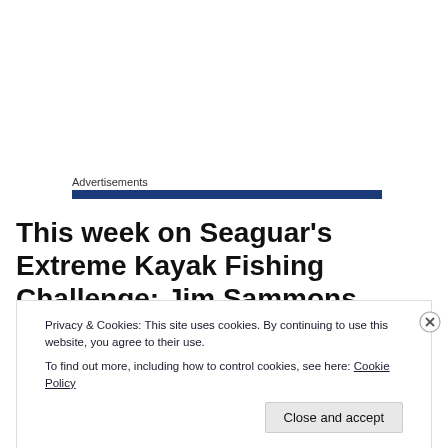Advertisements
This week on Seaguar's Extreme Kayak Fishing Challenge; Jim Sammons visits New Zealand chasing big KingFish and gets the scare of a lifetime as a shark rips a
Privacy & Cookies: This site uses cookies. By continuing to use this website, you agree to their use.
To find out more, including how to control cookies, see here: Cookie Policy
Close and accept